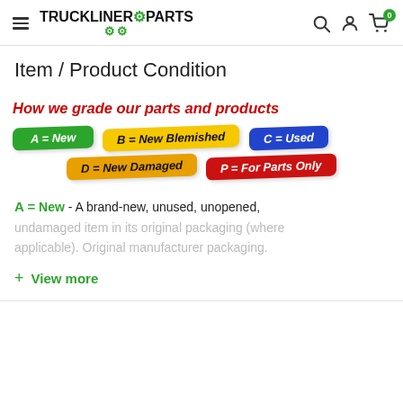TRUCKLINER PARTS — navigation header with logo, hamburger menu, search, account, and cart icons
Item / Product Condition
[Figure (infographic): Grading chart showing: 'How we grade our parts and products' in red italic bold. Five color-coded badge labels: A = New (green), B = New Blemished (yellow), C = Used (blue), D = New Damaged (gold/orange), P = For Parts Only (red).]
A = New - A brand-new, unused, unopened, undamaged item in its original packaging (where applicable). Original manufacturer packaging.
+ View more